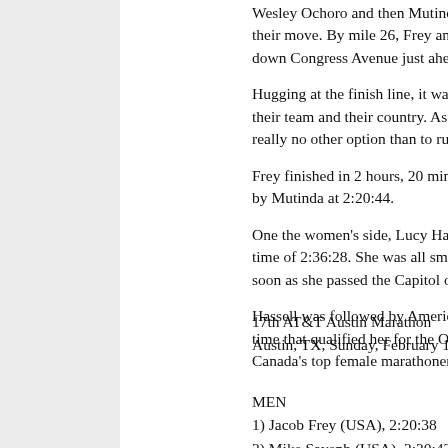Wesley Ochoro and then Mutinda lead their move. By mile 26, Frey and Sayenb down Congress Avenue just ahead of the
Hugging at the finish line, it was clear th their team and their country. As Frey, 26 really no other option than to run your b
Frey finished in 2 hours, 20 minutes, 38 by Mutinda at 2:20:44.
One the women's side, Lucy Hassell, 29 time of 2:36:28. She was all smiles even soon as she passed the Capitol on Congr
Hassell was followed by American Beck time that qualified her for the Olympic T Canada's top female marathoner, Nicole
17th AT&T Austin Marathon
Austin, TX, Sunday, February 17, 2008
MEN
1) Jacob Frey (USA), 2:20:38
2) Mike Sayenb (USA), 2:20:42